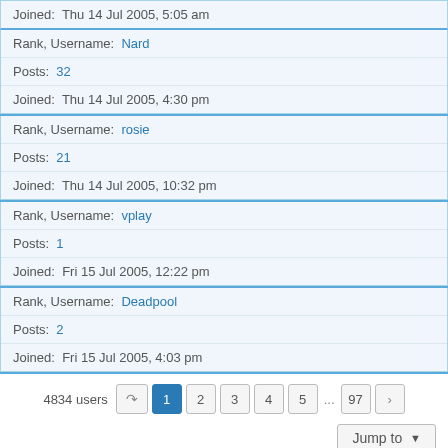Joined: Thu 14 Jul 2005, 5:05 am
Rank, Username: Nard
Posts: 32
Joined: Thu 14 Jul 2005, 4:30 pm
Rank, Username: rosie
Posts: 21
Joined: Thu 14 Jul 2005, 10:32 pm
Rank, Username: vplay
Posts: 1
Joined: Fri 15 Jul 2005, 12:22 pm
Rank, Username: Deadpool
Posts: 2
Joined: Fri 15 Jul 2005, 4:03 pm
4834 users  1 2 3 4 5 ... 97
Jump to
Board index   Contact us   The team   Members
Powered by phpBB® Forum Software © phpBB Limited